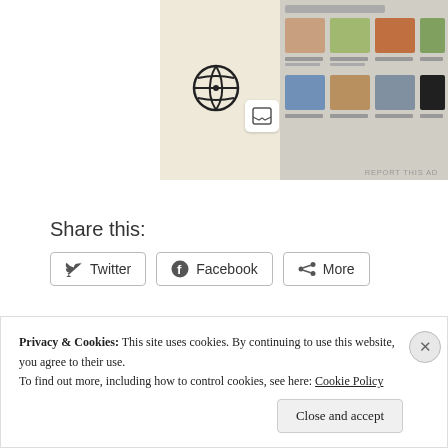[Figure (screenshot): WordPress website screenshot showing food photography on a beige background, with WordPress logo and inbox icon visible]
REPORT THIS AD
Share this:
Twitter
Facebook
More
Like
Be the first to like this.
Privacy & Cookies: This site uses cookies. By continuing to use this website, you agree to their use.
To find out more, including how to control cookies, see here: Cookie Policy
Close and accept